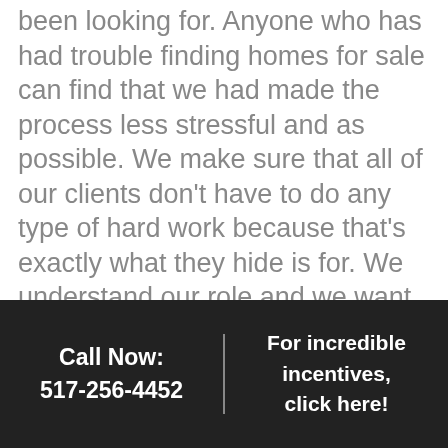been looking for. Anyone who has had trouble finding homes for sale can find that we had made the process less stressful and as possible. We make sure that all of our clients don't have to do any type of hard work because that's exactly what they hide is for. We understand our role and we want to make sure that you can sit back and relax while we do all of the hard work. We love the hard work and we love being able to see the fruition of our hard work and making all of our clients happy. We want to make you happy and we want to show you exactly why we are the best.
Call Now:
517-256-4452
For incredible incentives, click here!